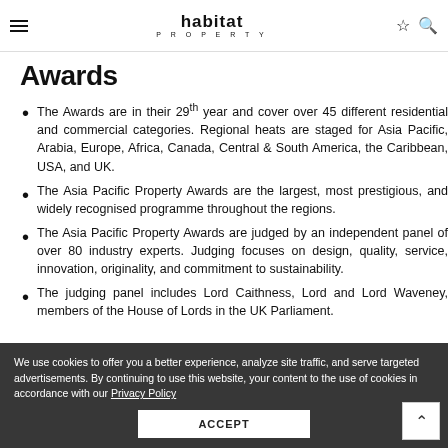habitat PROPERTY
Awards
The Awards are in their 29th year and cover over 45 different residential and commercial categories. Regional heats are staged for Asia Pacific, Arabia, Europe, Africa, Canada, Central & South America, the Caribbean, USA, and UK.
The Asia Pacific Property Awards are the largest, most prestigious, and widely recognised programme throughout the regions.
The Asia Pacific Property Awards are judged by an independent panel of over 80 industry experts. Judging focuses on design, quality, service, innovation, originality, and commitment to sustainability.
The judging panel includes Lord Caithness, Lord and Lord Waveney, members of the House of Lords in the UK Parliament.
We use cookies to offer you a better experience, analyze site traffic, and serve targeted advertisements. By continuing to use this website, your content to the use of cookies in accordance with our Privacy Policy